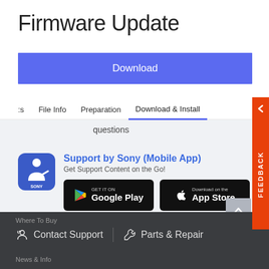Firmware Update
Download
s  File Info  Preparation  Download & Install
questions
Support by Sony (Mobile App)
Get Support Content on the Go!
[Figure (logo): Sony Support mobile app icon - blue background with white figure graphic and SONY text]
[Figure (logo): GET IT ON Google Play badge - black background]
[Figure (logo): Download on the App Store badge - black background]
Where To Buy
Contact Support  Parts & Repair
News & Info